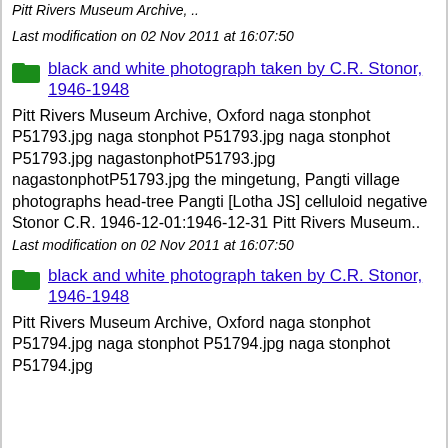Pitt Rivers Museum Archive, ..
Last modification on 02 Nov 2011 at 16:07:50
black and white photograph taken by C.R. Stonor, 1946-1948
Pitt Rivers Museum Archive, Oxford naga stonphot P51793.jpg naga stonphot P51793.jpg naga stonphot P51793.jpg nagastonphotP51793.jpg nagastonphotP51793.jpg the mingetung, Pangti village photographs head-tree Pangti [Lotha JS] celluloid negative Stonor C.R. 1946-12-01:1946-12-31 Pitt Rivers Museum..
Last modification on 02 Nov 2011 at 16:07:50
black and white photograph taken by C.R. Stonor, 1946-1948
Pitt Rivers Museum Archive, Oxford naga stonphot P51794.jpg naga stonphot P51794.jpg naga stonphot P51794.jpg